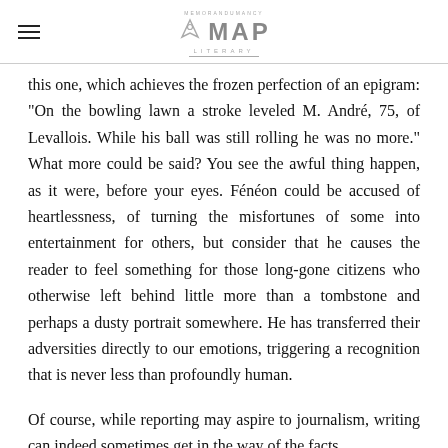MAP LITERARY
this one, which achieves the frozen perfection of an epigram: "On the bowling lawn a stroke leveled M. André, 75, of Levallois. While his ball was still rolling he was no more." What more could be said? You see the awful thing happen, as it were, before your eyes. Fénéon could be accused of heartlessness, of turning the misfortunes of some into entertainment for others, but consider that he causes the reader to feel something for those long-gone citizens who otherwise left behind little more than a tombstone and perhaps a dusty portrait somewhere. He has transferred their adversities directly to our emotions, triggering a recognition that is never less than profoundly human.
Of course, while reporting may aspire to journalism, writing can indeed sometimes get in the way of the facts